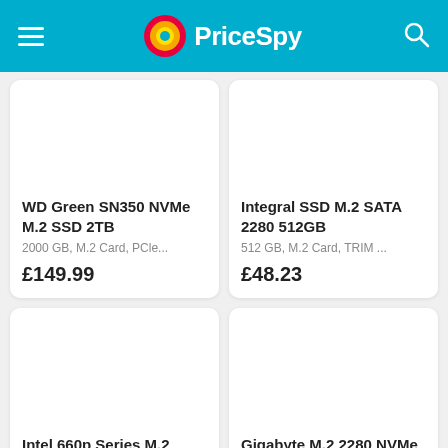PriceSpy
WD Green SN350 NVMe M.2 SSD 2TB
2000 GB, M.2 Card, PCle...
£149.99
Integral SSD M.2 SATA 2280 512GB
512 GB, M.2 Card, TRIM ...
£48.23
Intel 660p Series M.2 2280 SSD 512GB
Gigabyte M.2 2280 NVMe PCIe 4 SSD 512GB